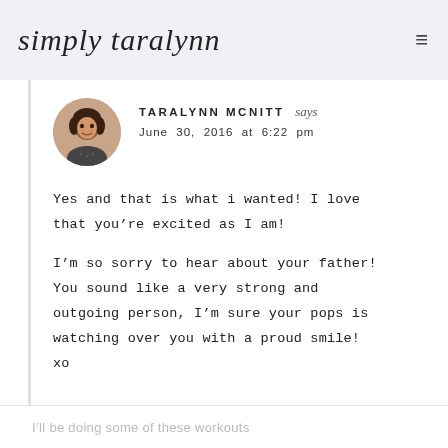simply taralynn
[Figure (photo): Circular avatar photo of Taralynn McNitt, a young woman with dark hair, smiling]
TARALYNN MCNITT says
June 30, 2016 at 6:22 pm
Yes and that is what i wanted! I love that you’re excited as I am!

I’m so sorry to hear about your father! You sound like a very strong and outgoing person, I’m sure your pops is watching over you with a proud smile! xo
I'll be doing some of these workouts